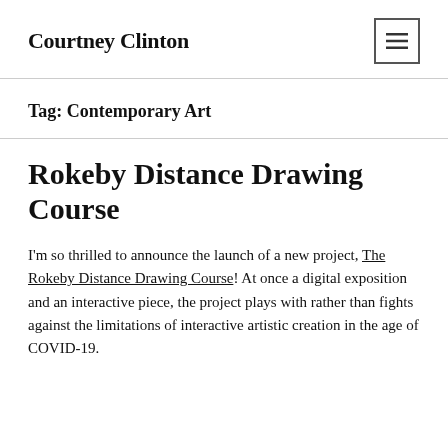Courtney Clinton
Tag: Contemporary Art
Rokeby Distance Drawing Course
I'm so thrilled to announce the launch of a new project, The Rokeby Distance Drawing Course! At once a digital exposition and an interactive piece, the project plays with rather than fights against the limitations of interactive artistic creation in the age of COVID-19.